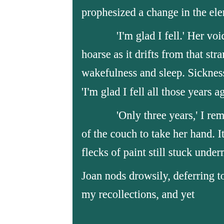prophesized a change in the elements.

‘I’m glad I fell.’ Her voice startles me, hazy and hoarse as it drifts from that strange, liminal land between wakefulness and sleep. Sickness and health. Land and sea. ‘I’m glad I fell all those years ago, Lil.’

‘Only three years,’ I remind her, perching on the edge of the couch to take her hand. It makes me smile to find flecks of paint still stuck underneath her nails.

Joan nods drowsily, deferring to the dull literal accuracy of my recollections, and yet
[Figure (photo): Blurred pink blossoms or flowers against a green leafy background, visible on the right side of the page.]